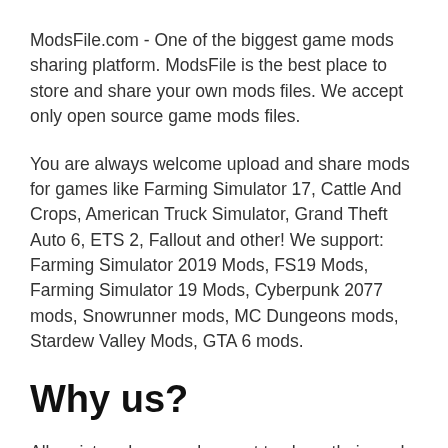ModsFile.com - One of the biggest game mods sharing platform. ModsFile is the best place to store and share your own mods files. We accept only open source game mods files.
You are always welcome upload and share mods for games like Farming Simulator 17, Cattle And Crops, American Truck Simulator, Grand Theft Auto 6, ETS 2, Fallout and other! We support: Farming Simulator 2019 Mods, FS19 Mods, Farming Simulator 19 Mods, Cyberpunk 2077 mods, Snowrunner mods, MC Dungeons mods, Stardew Valley Mods, GTA 6 mods.
Why us?
All registered users who want to share their mods will not be limited...